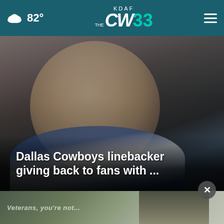KDAF CW 33 — 82°
[Figure (photo): Close-up photo of a Dallas Cowboys linebacker smiling/speaking, wearing a blue and white hoodie, with an out-of-focus background]
Dallas Cowboys linebacker giving back to fans with ...
[Figure (photo): Partial advertisement image showing a person, with text partially visible reading 'Veterans, you're not...']